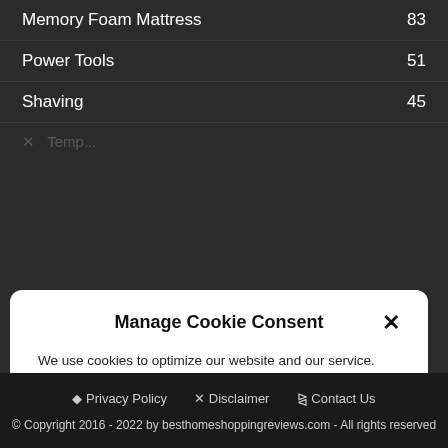Memory Foam Mattress 83
Power Tools 51
Shaving 45
Manage Cookie Consent
We use cookies to optimize our website and our service.
Accept
Privacy Policy
Privacy Policy  Disclaimer  Contact Us
© Copyright 2016 - 2022 by besthomeshoppingreviews.com - All rights reserved